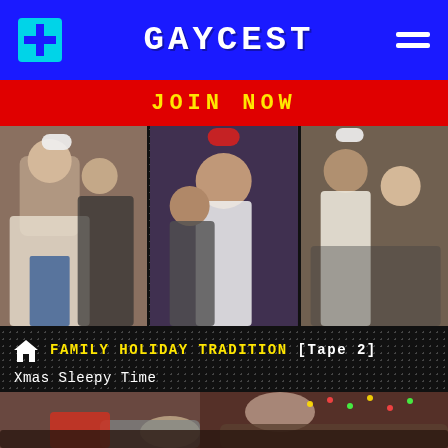GAYCEST
JOIN NOW
[Figure (photo): Three thumbnail images showing holiday-themed scenes with people wearing Santa hats]
FAMILY HOLIDAY TRADITION [Tape 2]
Xmas Sleepy Time
[Figure (photo): Two people on a leather couch in front of a Christmas tree, one in a red sweater with a mustache]